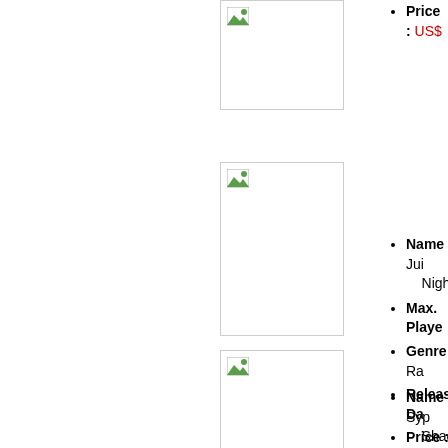[Figure (photo): Game cover image placeholder (broken image icon), top section]
Price : USS...
[Figure (photo): Game cover image placeholder (broken image icon), second section - Juicy Nights]
Name : Juicy Nights
Max. Players : ...
Genre : Ra...
Release Date : ...
Price : USS...
[Figure (photo): Game cover image placeholder (broken image icon), third section - Syp... Shadow]
Name : Syp... Shadow
Max. Players : ...
Genre : Sh...
Release Date : ...
Price : USS...